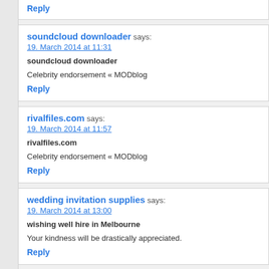Reply
soundcloud downloader says:
19. March 2014 at 11:31
soundcloud downloader
Celebrity endorsement « MODblog
Reply
rivalfiles.com says:
19. March 2014 at 11:57
rivalfiles.com
Celebrity endorsement « MODblog
Reply
wedding invitation supplies says:
19. March 2014 at 13:00
wishing well hire in Melbourne
Your kindness will be drastically appreciated.
Reply